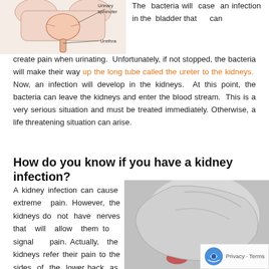[Figure (illustration): Anatomical diagram of urinary tract showing urinary sphincter and urethra with labeled arrows]
The bacteria will case an infection in the bladder that can create pain when urinating. Unfortunately, if not stopped, the bacteria will make their way up the long tube called the ureter to the kidneys. Now, an infection will develop in the kidneys. At this point, the bacteria can leave the kidneys and enter the blood stream. This is a very serious situation and must be treated immediately. Otherwise, a life threatening situation can arise.
How do you know if you have a kidney infection?
A kidney infection can cause extreme pain. However, the kidneys do not have nerves that will allow them to signal pain. Actually, the kidneys refer their pain to the sides of the lower back as seen in the picture. Therefore, if you feel this type of
[Figure (photo): Black and white photo of a person touching their lower back, with a red highlighted area indicating kidney pain location]